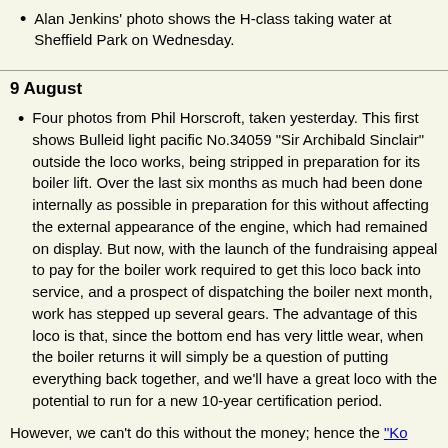Alan Jenkins' photo shows the H-class taking water at Sheffield Park on Wednesday.
9 August
Four photos from Phil Horscroft, taken yesterday. This first shows Bulleid light pacific No.34059 "Sir Archibald Sinclair" outside the loco works, being stripped in preparation for its boiler lift. Over the last six months as much had been done internally as possible in preparation for this without affecting the external appearance of the engine, which had remained on display. But now, with the launch of the fundraising appeal to pay for the boiler work required to get this loco back into service, and a prospect of dispatching the boiler next month, work has stepped up several gears. The advantage of this loco is that, since the bottom end has very little wear, when the boiler returns it will simply be a question of putting everything back together, and we'll have a great loco with the potential to run for a new 10-year certification period.
However, we can't do this without the money; hence the "Ko..." 2012 for this locomotive, but additional funds are required f...